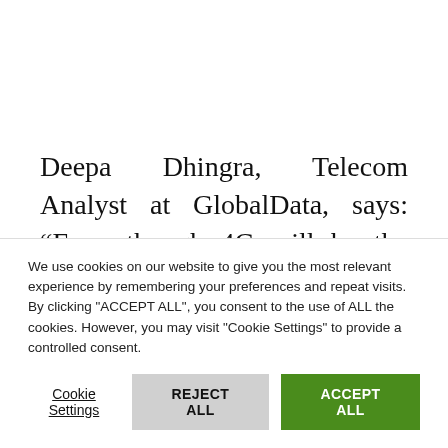Deepa Dhingra, Telecom Analyst at GlobalData, says: “Even though 4G will be the leading mobile technology in South Korea through the forecast period, its share of total mobile subscriptions will decline from 70.2% in 2019 to 50.6% in 2024
We use cookies on our website to give you the most relevant experience by remembering your preferences and repeat visits. By clicking "ACCEPT ALL", you consent to the use of ALL the cookies. However, you may visit "Cookie Settings" to provide a controlled consent.
Cookie Settings | REJECT ALL | ACCEPT ALL